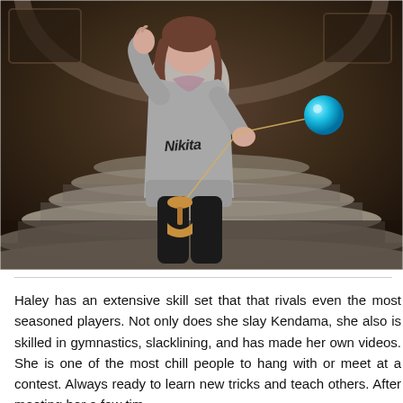[Figure (photo): A young woman wearing a grey Nikita hoodie stands on marble stairs in a museum or grand building, holding a kendama toy with a wooden cup and a blue ball on a string. She poses with one hand raised. The photo has a wide-angle lens distortion effect.]
Haley has an extensive skill set that that rivals even the most seasoned players. Not only does she slay Kendama, she also is skilled in gymnastics, slacklining, and has made her own videos. She is one of the most chill people to hang with or meet at a contest. Always ready to learn new tricks and teach others. After meeting her a few tim